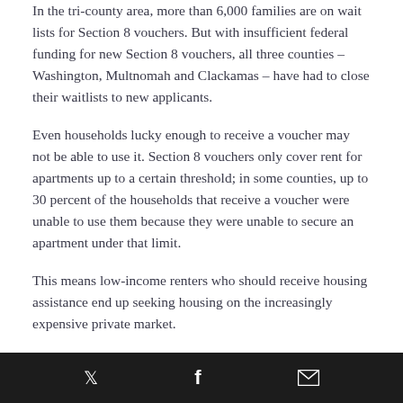In the tri-county area, more than 6,000 families are on wait lists for Section 8 vouchers. But with insufficient federal funding for new Section 8 vouchers, all three counties – Washington, Multnomah and Clackamas – have had to close their waitlists to new applicants.
Even households lucky enough to receive a voucher may not be able to use it. Section 8 vouchers only cover rent for apartments up to a certain threshold; in some counties, up to 30 percent of the households that receive a voucher were unable to use them because they were unable to secure an apartment under that limit.
This means low-income renters who should receive housing assistance end up seeking housing on the increasingly expensive private market.
3) Communities of color are
Twitter | Facebook | Email